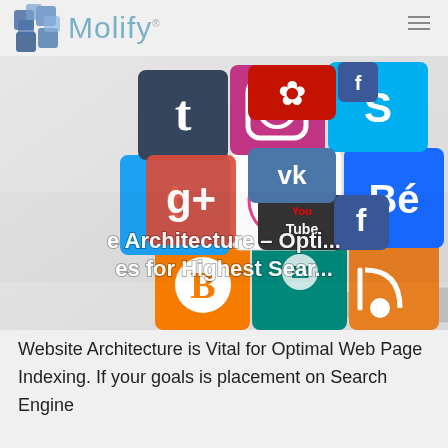Molify
[Figure (illustration): A Rubik's cube style 3D cube covered with social media app icons including Twitter, Facebook, Instagram, Google+, YouTube, Blogger, Skype, Tumblr, Behance, and others, on a light gray background. Overlaid text reads: 'e Architecture – Opti... es for Highest Sear...']
Website Architecture is Vital for Optimal Web Page Indexing. If your goals is placement on Search Engine